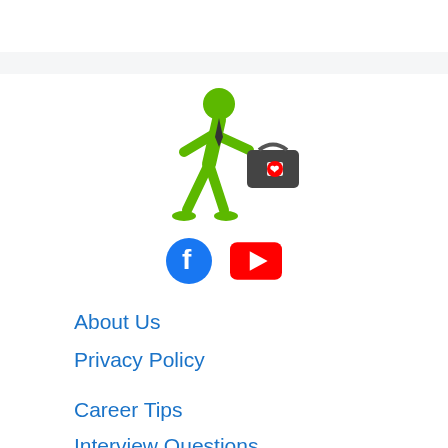[Figure (illustration): Green stick figure walking businessman carrying a briefcase with a red maple leaf (Canada logo), wearing a dark tie]
[Figure (logo): Facebook circular blue logo icon and YouTube red rectangular logo icon side by side]
About Us
Privacy Policy
Career Tips
Interview Questions